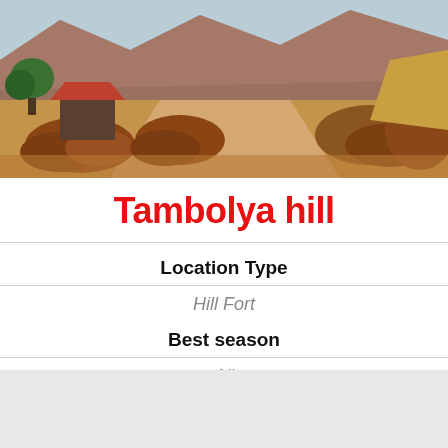[Figure (photo): Landscape photo showing a rural hillside scene with piles of logs/firewood along a dirt road, a small building with red roof on the left, green trees, and brown rocky mountains in the background under a hazy sky.]
Tambolya hill
Location Type
Hill Fort
Best season
All
Distance from nashik
120 K.M.
[Figure (map): Map placeholder area at the bottom of the page, light gray background.]